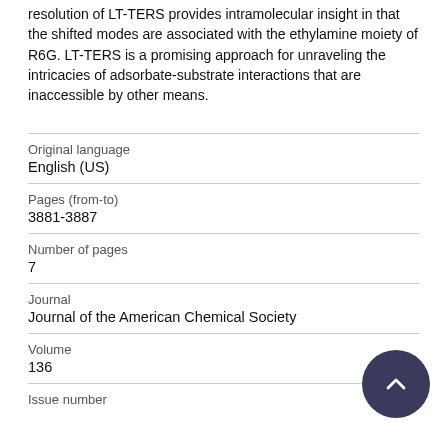resolution of LT-TERS provides intramolecular insight in that the shifted modes are associated with the ethylamine moiety of R6G. LT-TERS is a promising approach for unraveling the intricacies of adsorbate-substrate interactions that are inaccessible by other means.
| Original language | English (US) |
| Pages (from-to) | 3881-3887 |
| Number of pages | 7 |
| Journal | Journal of the American Chemical Society |
| Volume | 136 |
| Issue number |  |